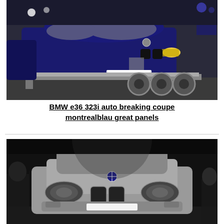[Figure (photo): Blue BMW e36 323i coupe loaded on a car transporter trailer at night, registration plate N906 AMO visible]
BMW e36 323i auto breaking coupe montrealblau great panels
[Figure (photo): Silver BMW car photographed from the front at night, front grille and headlights visible]